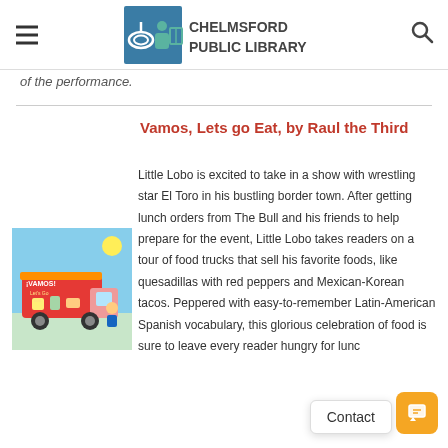Chelmsford Public Library
of the performance.
Vamos, Lets go Eat, by Raul the Third
[Figure (illustration): Book cover of 'iVamos! Lets go Eat' showing a colorful food truck scene with characters]
Little Lobo is excited to take in a show with wrestling star El Toro in his bustling border town. After getting lunch orders from The Bull and his friends to help prepare for the event, Little Lobo takes readers on a tour of food trucks that sell his favorite foods, like quesadillas with red peppers and Mexican-Korean tacos. Peppered with easy-to-remember Latin-American Spanish vocabulary, this glorious celebration of food is sure to leave every reader hungry for lunc